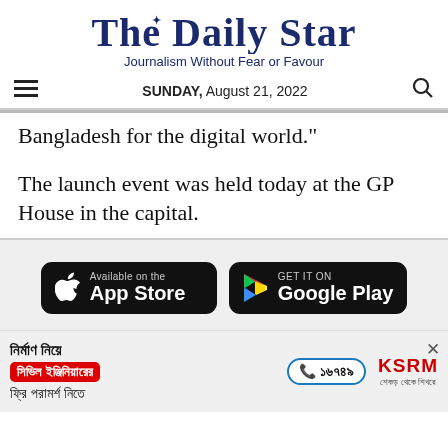The Daily Star
Journalism Without Fear or Favour
SUNDAY, August 21, 2022
Bangladesh for the digital world."
The launch event was held today at the GP House in the capital.
[Figure (other): App Store and Google Play download buttons]
[Figure (other): Advertisement banner in Bengali for civil engineering consultation with phone number 16749 and KSRM brand]